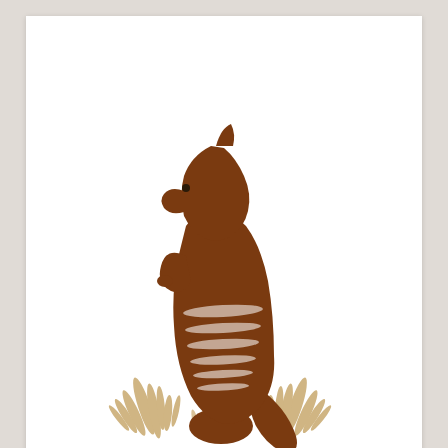[Figure (logo): Numbat Niche Consulting logo: a brown numbat (marsupial) standing upright with white stripe markings, surrounded by golden grass/brush at its feet, above the text NUMBAT in large dark brown bold letters and NICHE CONSULTING in smaller spaced golden-brown letters beneath.]
by Anastasia Kristina
32